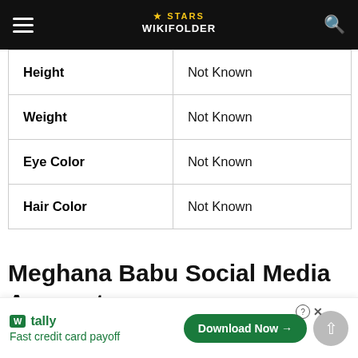Stars WikiFolder
| Height | Not Known |
| Weight | Not Known |
| Eye Color | Not Known |
| Hair Color | Not Known |
Meghana Babu Social Media Accounts